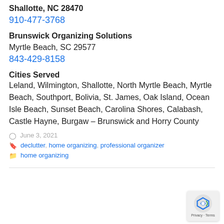Shallotte, NC 28470
910-477-3768
Brunswick Organizing Solutions
Myrtle Beach, SC 29577
843-429-8158
Cities Served
Leland, Wilmington, Shallotte, North Myrtle Beach, Myrtle Beach, Southport, Bolivia, St. James, Oak Island, Ocean Isle Beach, Sunset Beach, Carolina Shores, Calabash, Castle Hayne, Burgaw – Brunswick and Horry County
June 3, 2021
declutter, home organizing, professional organizer
home organizing